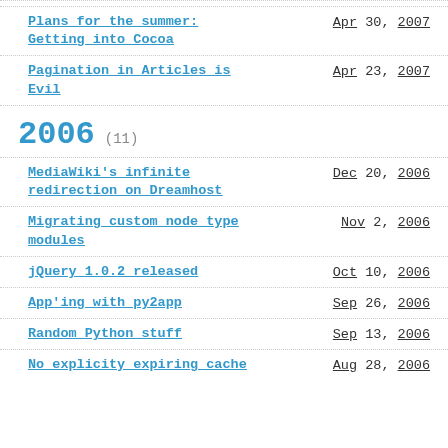Plans for the summer: Getting into Cocoa — Apr 30, 2007
Pagination in Articles is Evil — Apr 23, 2007
2006 (11)
MediaWiki's infinite redirection on Dreamhost — Dec 20, 2006
Migrating custom node type modules — Nov 2, 2006
jQuery 1.0.2 released — Oct 10, 2006
App'ing with py2app — Sep 26, 2006
Random Python stuff — Sep 13, 2006
No explicity expiring cache — Aug 28, 2006